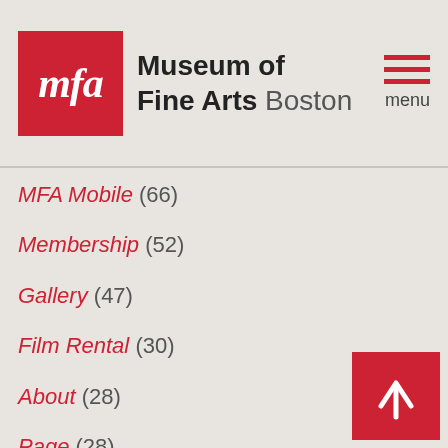[Figure (logo): Museum of Fine Arts Boston logo with red MFA box and text]
MFA Mobile (66)
Membership (52)
Gallery (47)
Film Rental (30)
About (28)
Page (28)
Staff Position (27)
Press (11)
Beyond the Gallery (8)
Traveling Exhibition (8)
Video Rental (4)